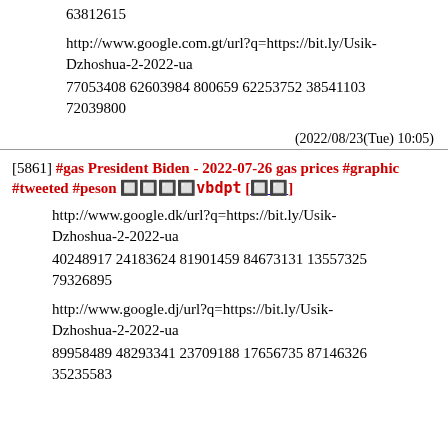63812615
http://www.google.com.gt/url?q=https://bit.ly/Usik-Dzhoshua-2-2022-ua
77053408 62603984 800659 62253752 38541103 72039800
(2022/08/23(Tue) 10:05)
[5861] #gas President Biden - 2022-07-26 gas prices #graphic #tweeted #peson 🔲🔲🔲🔲vbdpt [🔲🔲]
http://www.google.dk/url?q=https://bit.ly/Usik-Dzhoshua-2-2022-ua
40248917 24183624 81901459 84673131 13557325 79326895
http://www.google.dj/url?q=https://bit.ly/Usik-Dzhoshua-2-2022-ua
89958489 48293341 23709188 17656735 87146326 35235583